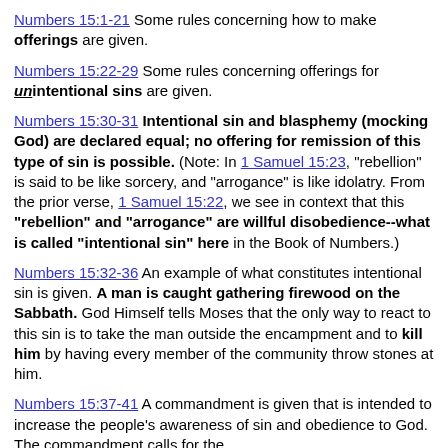Numbers 15:1-21 Some rules concerning how to make offerings are given.
Numbers 15:22-29 Some rules concerning offerings for unintentional sins are given.
Numbers 15:30-31 Intentional sin and blasphemy (mocking God) are declared equal; no offering for remission of this type of sin is possible. (Note: In 1 Samuel 15:23, "rebellion" is said to be like sorcery, and "arrogance" is like idolatry. From the prior verse, 1 Samuel 15:22, we see in context that this "rebellion" and "arrogance" are willful disobedience--what is called "intentional sin" here in the Book of Numbers.)
Numbers 15:32-36 An example of what constitutes intentional sin is given. A man is caught gathering firewood on the Sabbath. God Himself tells Moses that the only way to react to this sin is to take the man outside the encampment and to kill him by having every member of the community throw stones at him.
Numbers 15:37-41 A commandment is given that is intended to increase the people's awareness of sin and obedience to God. The commandment calls for the